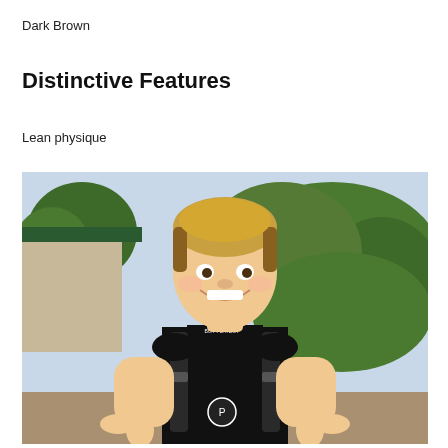Dark Brown
Distinctive Features
Lean physique
[Figure (photo): A smiling young male teenager with blonde/light brown hair giving two thumbs up, wearing a black Playboy t-shirt and a dark backpack, standing outdoors in front of green trees and a building.]